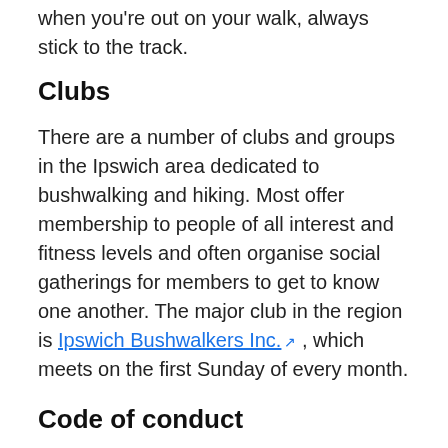when you're out on your walk, always stick to the track.
Clubs
There are a number of clubs and groups in the Ipswich area dedicated to bushwalking and hiking. Most offer membership to people of all interest and fitness levels and often organise social gatherings for members to get to know one another. The major club in the region is Ipswich Bushwalkers Inc., which meets on the first Sunday of every month.
Code of conduct
While most walkers and hikers are respectful to the environment and other people while out in nature, it's always worth remembering the